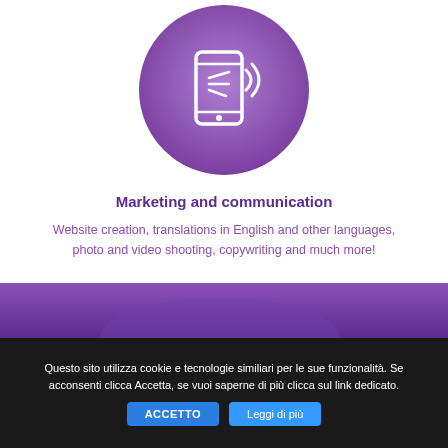[Figure (illustration): Purple circular icon with white smartphone/tablet and sound/signal waves icon]
Marketing and communication
Website creation, translations in English and other languages, photo and video shooting, copywriting and much more!
[Figure (photo): Purple gradient band section, partially visible background image]
Questo sito utilizza cookie e tecnologie similiari per le sue funzionalità. Se acconsenti clicca Accetta, se vuoi saperne di più clicca sul link dedicato.